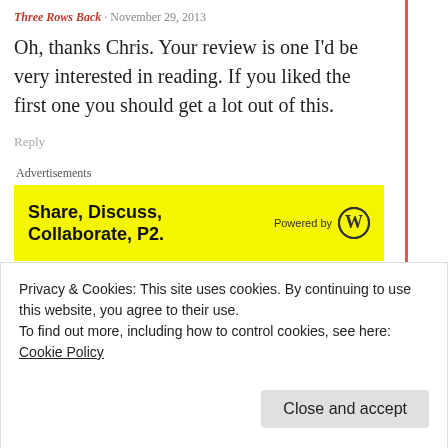Three Rows Back · November 29, 2013
Oh, thanks Chris. Your review is one I'd be very interested in reading. If you liked the first one you should get a lot out of this.
Reply
Advertisements
[Figure (infographic): Yellow advertisement banner reading 'Share, Discuss, Collaborate, P2.' with 'Powered by' WordPress logo on the right]
REPORT THIS AD
Privacy & Cookies: This site uses cookies. By continuing to use this website, you agree to their use.
To find out more, including how to control cookies, see here: Cookie Policy
Close and accept